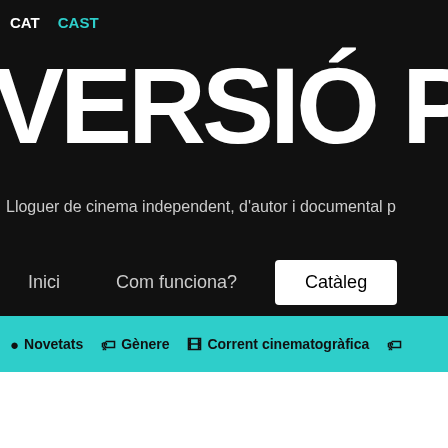CAT  CAST
VERSIÓ POS
Lloguer de cinema independent, d'autor i documental p
Inici
Com funciona?
Catàleg
Novetats
Gènere
Corrent cinematogràfica
Cerqueu per títol, director, actors, etc.